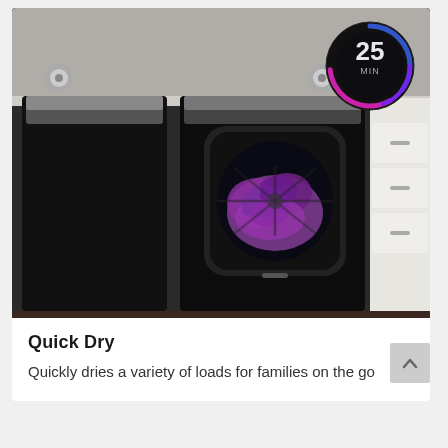[Figure (photo): Photo of black Samsung washer and dryer appliances in a laundry room. The dryer door window shows purple clothing tumbling inside. A circular timer display in the top-right corner shows '25 MIN' with a colorful blue-to-pink gradient ring.]
Quick Dry
Quickly dries a variety of loads for families on the go